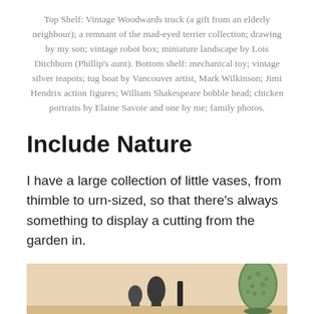Top Shelf: Vintage Woodwards truck (a gift from an elderly neighbour); a remnant of the mad-eyed terrier collection; drawing by my son; vintage robot box; miniature landscape by Lois Ditchburn (Phillip's aunt). Bottom shelf: mechanical toy; vintage silver teapots; tug boat by Vancouver artist, Mark Wilkinson; Jimi Hendrix action figures; William Shakespeare bobble head; chicken portraits by Elaine Savoie and one by me; family photos.
Include Nature
I have a large collection of little vases, from thimble to urn-sized, so that there's always something to display a cutting from the garden in.
[Figure (photo): Partial photo of vases and decorative items on a shelf with a warm beige background, showing silhouettes of vases including a green textured vase on the right.]